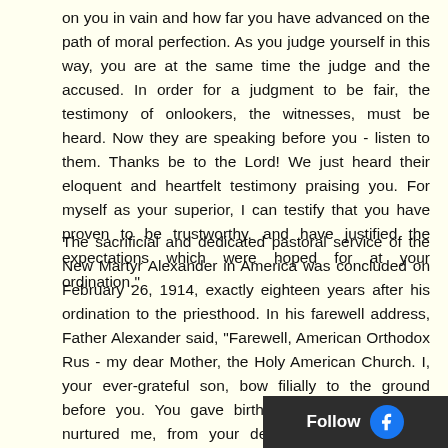on you in vain and how far you have advanced on the path of moral perfection. As you judge yourself in this way, you are at the same time the judge and the accused. In order for a judgment to be fair, the testimony of onlookers, the witnesses, must be heard. Now they are speaking before you - listen to them. Thanks be to the Lord! We just heard their eloquent and heartfelt testimony praising you. For myself as your superior, I can testify that you have proven to be trustworthy, and have justified the expectations which were hoped for at your ordination."
The sacrificial and dedicated pastoral service of the New Martyr Alexander in America was concluded on February 26, 1914, exactly eighteen years after his ordination to the priesthood. In his farewell address, Father Alexander said, "Farewell, American Orthodox Rus - my dear Mother, the Holy American Church. I, your ever-grateful son, bow filially to the ground before you. You gave birth to me spiritually, you nurtured me, from your depths you inspired me strength. Through the shining witness of your fo